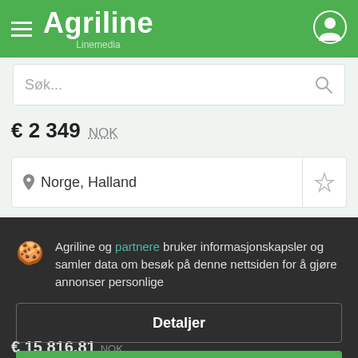Agriline Linemedia
Søk...
€ 2 349  NOK
Norge, Halland
Agriline og partnere bruker informasjonskapsler og samler data om besøk på denne nettsiden for å gjøre annonser personlige
Detaljer
Godta og lukk
€ 15 816.81  NOK